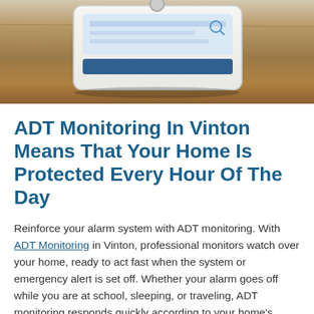[Figure (photo): ADT security panel device sitting on a wooden table surface, viewed from slightly above. The device is white/light grey with a blue bar and circular button on top.]
ADT Monitoring In Vinton Means That Your Home Is Protected Every Hour Of The Day
Reinforce your alarm system with ADT monitoring. With ADT Monitoring in Vinton, professional monitors watch over your home, ready to act fast when the system or emergency alert is set off. Whether your alarm goes off while you are at school, sleeping, or traveling, ADT monitoring responds quickly according to your home's custom